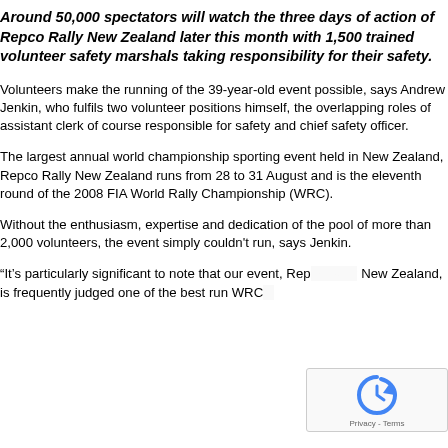Around 50,000 spectators will watch the three days of action of Repco Rally New Zealand later this month with 1,500 trained volunteer safety marshals taking responsibility for their safety.
Volunteers make the running of the 39-year-old event possible, says Andrew Jenkin, who fulfils two volunteer positions himself, the overlapping roles of assistant clerk of course responsible for safety and chief safety officer.
The largest annual world championship sporting event held in New Zealand, Repco Rally New Zealand runs from 28 to 31 August and is the eleventh round of the 2008 FIA World Rally Championship (WRC).
Without the enthusiasm, expertise and dedication of the pool of more than 2,000 volunteers, the event simply couldn't run, says Jenkin.
“It’s particularly significant to note that our event, Rep[co Rally] New Zealand, is frequently judged one of the best run WRC[...]